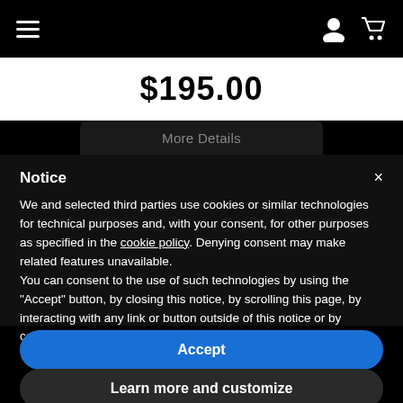[Figure (screenshot): Navigation bar with hamburger menu icon on left and user/cart icons on right, white on black background]
$195.00
More Details
Notice
We and selected third parties use cookies or similar technologies for technical purposes and, with your consent, for other purposes as specified in the cookie policy. Denying consent may make related features unavailable.
You can consent to the use of such technologies by using the "Accept" button, by closing this notice, by scrolling this page, by interacting with any link or button outside of this notice or by continuing to browse otherwise.
Accept
Learn more and customize